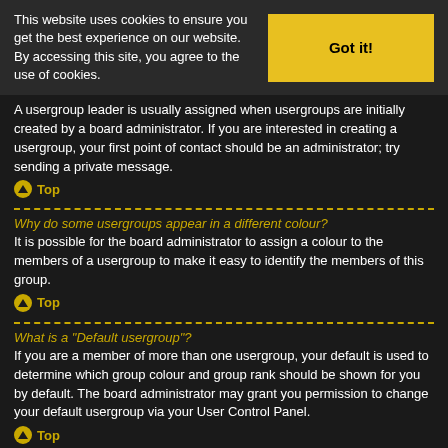This website uses cookies to ensure you get the best experience on our website. By accessing this site, you agree to the use of cookies.
Got it!
A usergroup leader is usually assigned when usergroups are initially created by a board administrator. If you are interested in creating a usergroup, your first point of contact should be an administrator; try sending a private message.
▲ Top
Why do some usergroups appear in a different colour?
It is possible for the board administrator to assign a colour to the members of a usergroup to make it easy to identify the members of this group.
▲ Top
What is a "Default usergroup"?
If you are a member of more than one usergroup, your default is used to determine which group colour and group rank should be shown for you by default. The board administrator may grant you permission to change your default usergroup via your User Control Panel.
▲ Top
What is "The team" link?
This page provides you with a list of board staff, including board administrators and moderators and other details such as the forums they moderate.
▲ Top